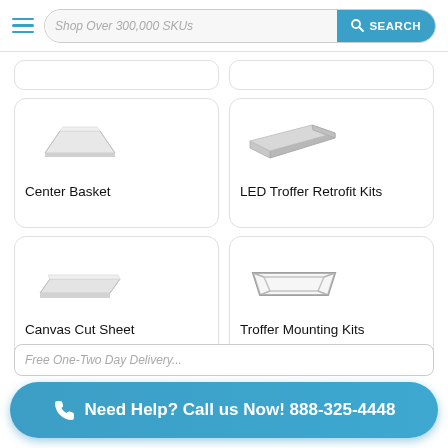Shop Over 300,000 SKUs  SEARCH
[Figure (illustration): Center Basket lighting product image - white flat panel troffer light]
Center Basket
[Figure (illustration): LED Troffer Retrofit Kits product image - gray angled troffer]
LED Troffer Retrofit Kits
[Figure (illustration): Canvas Cut Sheet product image - white flat panel]
Canvas Cut Sheet
[Figure (illustration): Troffer Mounting Kits product image - square frame mount]
Troffer Mounting Kits
Need Help? Call us Now! 888-325-4448